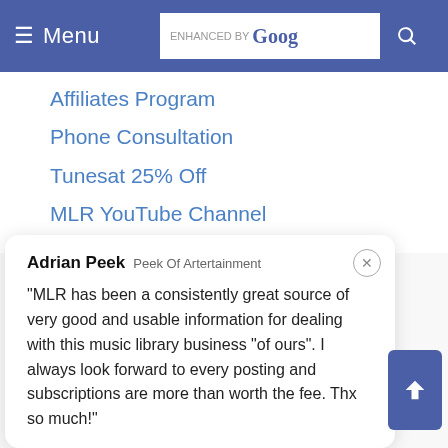≡ Menu | ENHANCED BY Google [search button]
Affiliates Program
Phone Consultation
Tunesat 25% Off
MLR YouTube Channel
Music Licensing Quiz
PRO Paying Networks
Build Your Own Site
MLR Jukebox
Report Subscription Sites
Adrian Peek  Peek Of Artertainment
"MLR has been a consistently great source of very good and usable information for dealing with this music library business "of ours". I always look forward to every posting and subscriptions are more than worth the fee. Thx so much!"